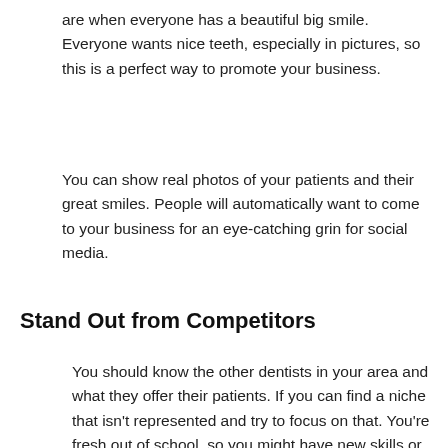are when everyone has a beautiful big smile. Everyone wants nice teeth, especially in pictures, so this is a perfect way to promote your business.
You can show real photos of your patients and their great smiles. People will automatically want to come to your business for an eye-catching grin for social media.
Stand Out from Competitors
You should know the other dentists in your area and what they offer their patients. If you can find a niche that isn’t represented and try to focus on that. You’re fresh out of school, so you might have new skills or techniques that other dentists don’t use.
Let people know about all the services you can provide on your website and social media. When patients come in, make sure to show them everything you have to offer. Investing in the best technology for dental care will let patients know you’re serious about your work.